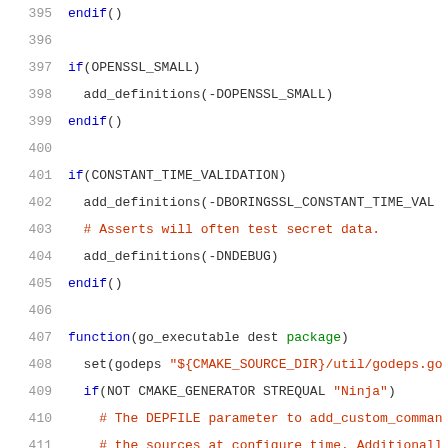CMake source code lines 395-415
395   endif()
396
397   if(OPENSSL_SMALL)
398     add_definitions(-DOPENSSL_SMALL)
399   endif()
400
401   if(CONSTANT_TIME_VALIDATION)
402     add_definitions(-DBORINGSSL_CONSTANT_TIME_VAL...
403     # Asserts will often test secret data.
404     add_definitions(-DNDEBUG)
405   endif()
406
407   function(go_executable dest package)
408     set(godeps "${CMAKE_SOURCE_DIR}/util/godeps.go...
409     if(NOT CMAKE_GENERATOR STREQUAL "Ninja")
410       # The DEPFILE parameter to add_custom_comman...
411       # the sources at configure time. Additionall...
412       # That affects what external packages to use...
413       #
414       # TODO(davidben): Starting CMake 3.20, it at...
415       # 3.21, it works with Visual Studio and Xcod...